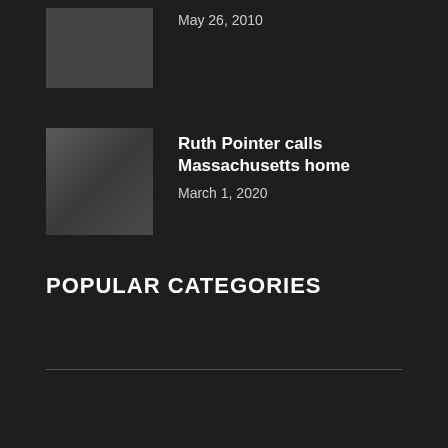[Figure (photo): Dark thumbnail image, cropped at top of page]
May 26, 2010
[Figure (photo): Photo of a person, appears to be a woman in white clothing]
Ruth Pointer calls Massachusetts home
March 1, 2020
POPULAR CATEGORIES